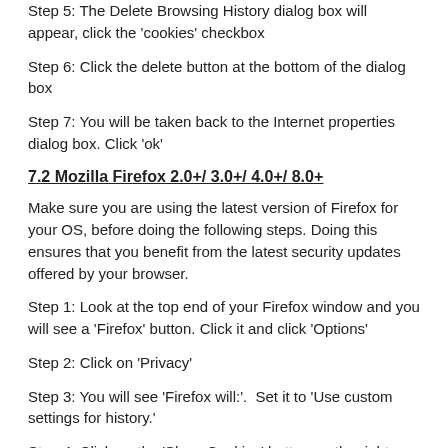Step 5: The Delete Browsing History dialog box will appear, click the 'cookies' checkbox
Step 6: Click the delete button at the bottom of the dialog box
Step 7: You will be taken back to the Internet properties dialog box. Click 'ok'
7.2 Mozilla Firefox 2.0+/ 3.0+/ 4.0+/ 8.0+
Make sure you are using the latest version of Firefox for your OS, before doing the following steps. Doing this ensures that you benefit from the latest security updates offered by your browser.
Step 1: Look at the top end of your Firefox window and you will see a 'Firefox' button. Click it and click 'Options'
Step 2: Click on 'Privacy'
Step 3: You will see 'Firefox will:'.  Set it to 'Use custom settings for history.'
Step 4: Click on the 'Show Cookies' button on the right side